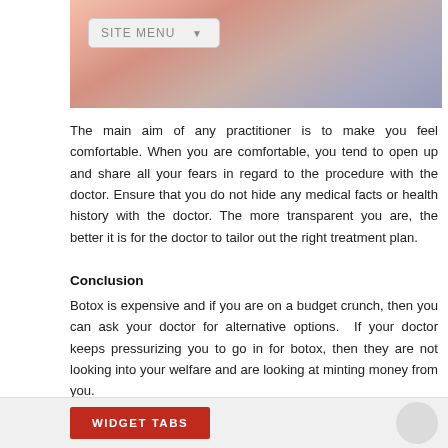[Figure (photo): Close-up photo of a person's face and neck, lying down, with dark hair visible. A site menu button overlay is visible in the top-left of the image.]
The main aim of any practitioner is to make you feel comfortable. When you are comfortable, you tend to open up and share all your fears in regard to the procedure with the doctor. Ensure that you do not hide any medical facts or health history with the doctor. The more transparent you are, the better it is for the doctor to tailor out the right treatment plan.
Conclusion
Botox is expensive and if you are on a budget crunch, then you can ask your doctor for alternative options.  If your doctor keeps pressurizing you to go in for botox, then they are not looking into your welfare and are looking at minting money from you.
Read More ➡
WIDGET TABS